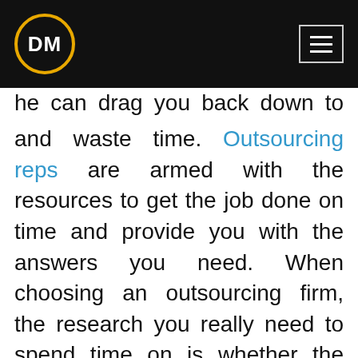DM
and waste time. Outsourcing reps are armed with the resources to get the job done on time and provide you with the answers you need. When choosing an outsourcing firm, the research you really need to spend time on is whether the firm you hire can give you everything you need to grow your business and take it to the next level.
Daven Michaels is an award-winning outsourcer and author of the book,